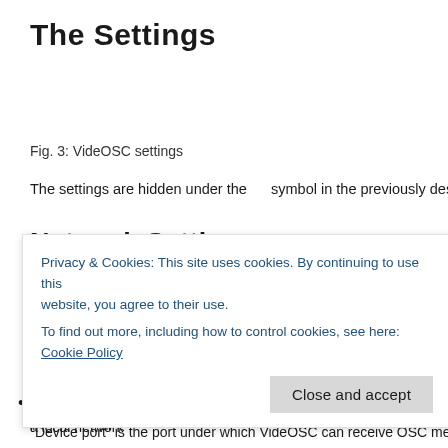The Settings
Fig. 3: VideOSC settings
The settings are hidden under the     symbol in the previously described toolbar o
Network Settings
Fig. 4: VideOSC network settings
Before you start playing with VideOSC you will have to set the IP address and por
the IP address will be set to 192.168.1.1 (which is often a router in a local network
machine you want to send OSC messages to and replace the default address with
Privacy & Cookies: This site uses cookies. By continuing to use this website, you agree to their use.
To find out more, including how to control cookies, see here: Cookie Policy
Close and accept
"Device port" is the port under which VideOSC can receive OSC messages itself